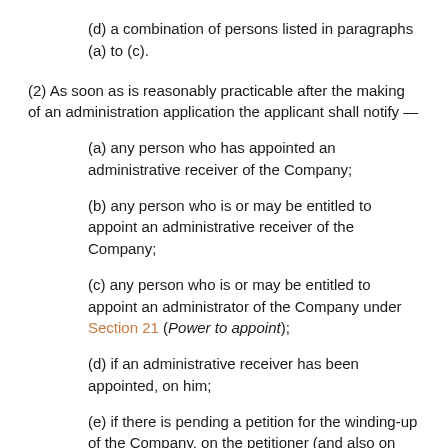(d) a combination of persons listed in paragraphs (a) to (c).
(2) As soon as is reasonably practicable after the making of an administration application the applicant shall notify —
(a) any person who has appointed an administrative receiver of the Company;
(b) any person who is or may be entitled to appoint an administrative receiver of the Company;
(c) any person who is or may be entitled to appoint an administrator of the Company under Section 21 (Power to appoint);
(d) if an administrative receiver has been appointed, on him;
(e) if there is pending a petition for the winding-up of the Company, on the petitioner (and also on the provisional